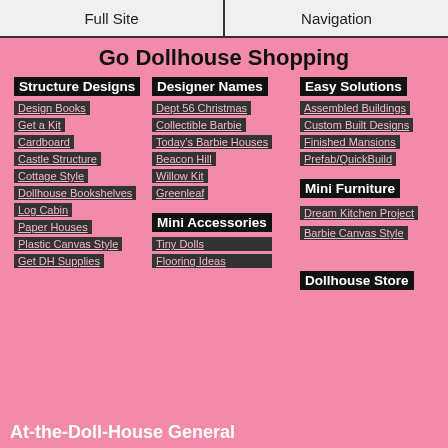Full Site | Navigation
Go Dollhouse Shopping
Structure Designs
Design Books
Get a Kit
Cardboard
Castle Structure
Cottage Style
Dollhouse Bookshelves
Log Cabin
Paper Houses
Plastic Canvas Style
Get DH Supplies
Designer Names
Dept 56 Christmas
Collectible Barbie
Today's Barbie Houses
Beacon Hill
Willow Kit
Greenleaf
Mini Accessories
Tiny Dolls
Flooring Ideas
Easy Solutions
Assembled Buildings
Custom Built Designs
Finished Mansions
Prefab/QuickBuild
Mini Furniture
Dream Kitchen Project
Barbie Canvas Style
Dollhouse Store
At-the-Doll-House General